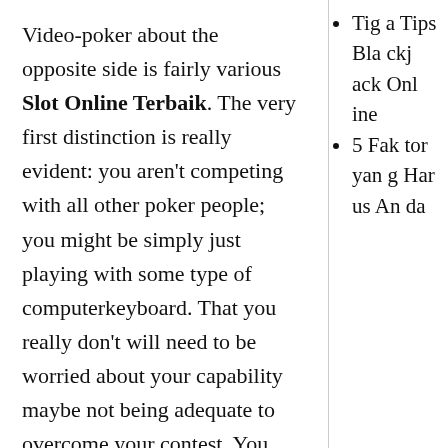Video-poker about the opposite side is fairly various Slot Online Terbaik. The very first distinction is really evident: you aren't competing with all other poker people; you might be simply just playing with some type of computerkeyboard. That you really don't will need to be worried about your capability maybe not being adequate to overcome your contest. You may give attention to simply hammering the personal computer.
Since we've observed
Tiga Tips Blackjack Online
5 Faktor yang Harus Anda